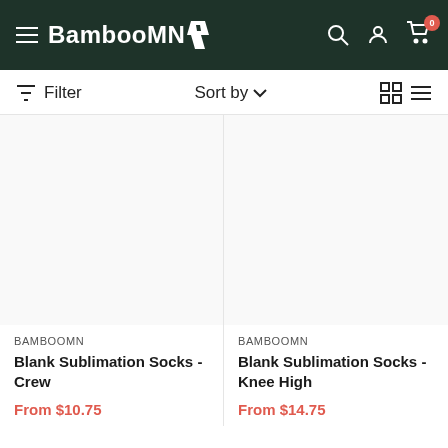BambooMN
Filter | Sort by
BAMBOOMN
Blank Sublimation Socks - Crew
From $10.75
BAMBOOMN
Blank Sublimation Socks - Knee High
From $14.75